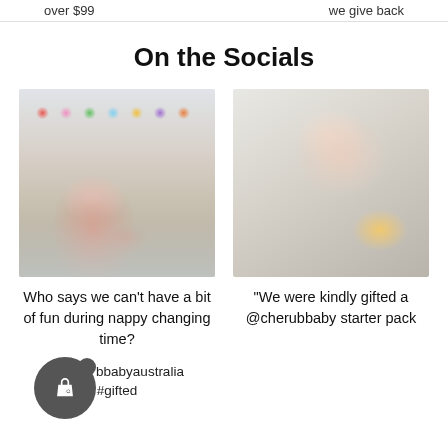over $99   we give back
On the Socials
[Figure (photo): Baby lying on a changing mat surrounded by colorful stuffed toys on a shelf behind]
Who says we can't have a bit of fun during nappy changing time?
@cherubbbabyaustralia #gifted
[Figure (photo): Sleeping baby lying on a white surface next to a baby bottle]
"We were kindly gifted a @cherubbaby starter pack